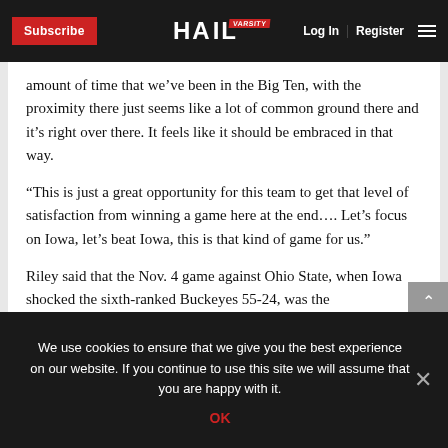Subscribe | HAIL VARSITY | Log In | Register
amount of time that we’ve been in the Big Ten, with the proximity there just seems like a lot of common ground there and it’s right over there. It feels like it should be embraced in that way.
“This is just a great opportunity for this team to get that level of satisfaction from winning a game here at the end…. Let’s focus on Iowa, let’s beat Iowa, this is that kind of game for us.”
Riley said that the Nov. 4 game against Ohio State, when Iowa shocked the sixth-ranked Buckeyes 55-24, was the
We use cookies to ensure that we give you the best experience on our website. If you continue to use this site we will assume that you are happy with it.
OK